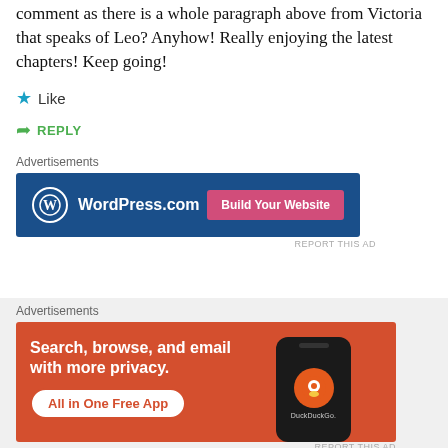comment as there is a whole paragraph above from Victoria that speaks of Leo? Anyhow! Really enjoying the latest chapters! Keep going!
Like
REPLY
[Figure (screenshot): WordPress.com advertisement banner with blue background, WordPress logo on left, and 'Build Your Website' pink button on right]
REPORT THIS AD
[Figure (screenshot): DuckDuckGo advertisement banner with orange/red background showing 'Search, browse, and email with more privacy. All in One Free App' text and phone graphic]